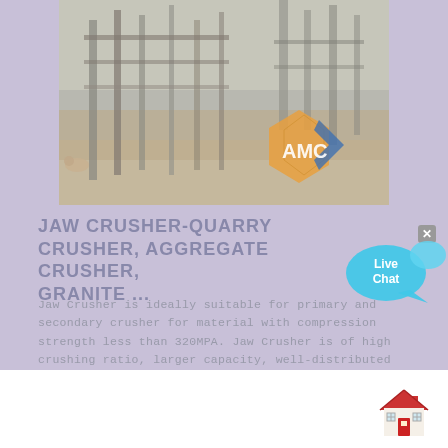[Figure (photo): A photograph of a quarry/mining site with heavy machinery, metal structures and equipment in a dusty outdoor environment. An AMC logo (orange and blue hexagonal shape with AMC text) is overlaid on the lower right of the photo.]
JAW CRUSHER-QUARRY CRUSHER, AGGREGATE CRUSHER, GRANITE ...
Jaw Crusher is ideally suitable for primary and secondary crusher for material with compression strength less than 320MPA. Jaw Crusher is of high crushing ratio, larger capacity, well-distributed final product size, simple structure, reliable performance, convenient maintenance, lower operation cost, etc.
[Figure (infographic): Live Chat speech bubble widget in cyan/blue color with 'Live Chat' text, accompanied by a close X button in gray.]
[Figure (illustration): Small house/home icon illustration with red roof and door, white walls, positioned in the bottom right corner.]